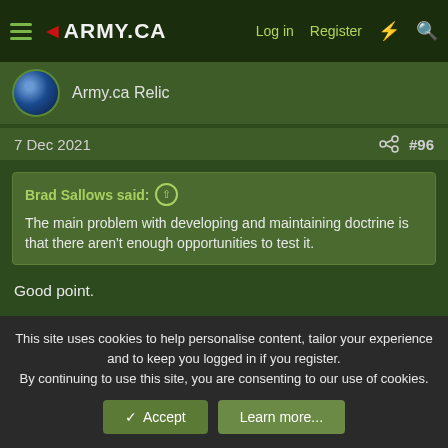◄ARMY.CA  Log in  Register
Army.ca Relic
7 Dec 2021  #96
Brad Sallows said: ↑
The main problem with developing and maintaining doctrine is that there aren't enough opportunities to test it.
Good point.

Although I completed several tours in Northern Ireland, with the relevant work up training of course, I never read or saw anything material entitled 'Counter-Insurgency/ Terrorism Doctrine for Northern Ireland'. It was all simply grouped under the title
This site uses cookies to help personalise content, tailor your experience and to keep you logged in if you register.
By continuing to use this site, you are consenting to our use of cookies.